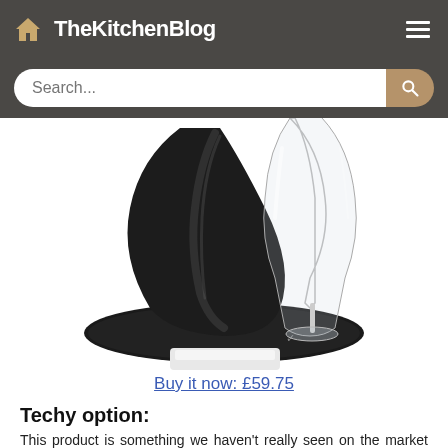TheKitchenBlog
[Figure (photo): A wine glass decanter with a black magnetic base/coaster device, shown close-up with the glass stem and base resting on a round black mat with a small logo mark.]
Buy it now: £59.75
Techy option:
This product is something we haven't really seen on the market before, its new magnetic technology has driven up our